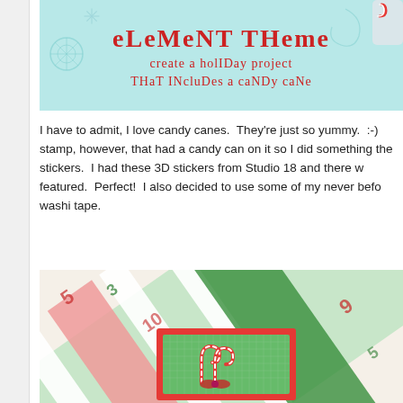[Figure (illustration): Holiday challenge banner on light blue background with snowflakes and swirls. Red text reads 'element theme' and below 'create a holiday project that includes a candy cane']
I have to admit, I love candy canes.  They're just so yummy.  :-) stamp, however, that had a candy can on it so I did something the stickers.  I had these 3D stickers from Studio 18 and there w featured.  Perfect!  I also decided to use some of my never befo washi tape.
[Figure (photo): Handmade holiday card with colorful washi tape strips in green, red, and white arranged diagonally. Card features a 3D candy cane sticker on a green and red layered card base with Christmas-themed patterned paper background.]